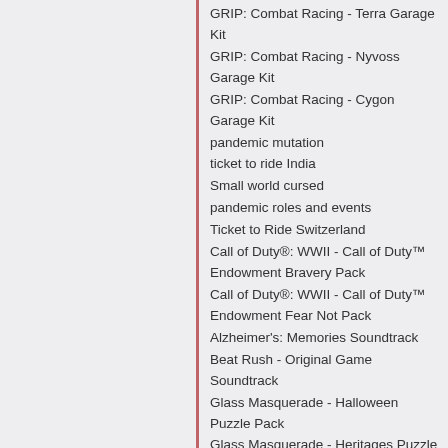GRIP: Combat Racing - Terra Garage Kit
GRIP: Combat Racing - Nyvoss Garage Kit
GRIP: Combat Racing - Cygon Garage Kit
pandemic mutation
ticket to ride India
Small world cursed
pandemic roles and events
Ticket to Ride Switzerland
Call of Duty®: WWII - Call of Duty™ Endowment Bravery Pack
Call of Duty®: WWII - Call of Duty™ Endowment Fear Not Pack
Alzheimer's: Memories Soundtrack
Beat Rush - Original Game Soundtrack
Glass Masquerade - Halloween Puzzle Pack
Glass Masquerade - Heritages Puzzle Pack
Glass Masquerade - Inceptions Puzzle Pack
Glass Masquerade 2: Illusions - Revelations Puzzle Pack
Glass Masquerade 2: Illusions - Temptations Puzzle Pack
Hero of Not Our Time Soundtrack
Sanitize Z Soundtrack